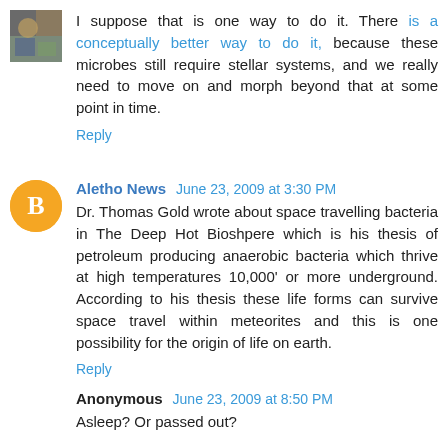[Figure (photo): Small avatar image of a user in the top-left corner, appears to show a person or object]
I suppose that is one way to do it. There is a conceptually better way to do it, because these microbes still require stellar systems, and we really need to move on and morph beyond that at some point in time.
Reply
[Figure (logo): Orange circle avatar with white Blogger 'B' icon]
Aletho News  June 23, 2009 at 3:30 PM
Dr. Thomas Gold wrote about space travelling bacteria in The Deep Hot Bioshpere which is his thesis of petroleum producing anaerobic bacteria which thrive at high temperatures 10,000' or more underground. According to his thesis these life forms can survive space travel within meteorites and this is one possibility for the origin of life on earth.
Reply
Anonymous  June 23, 2009 at 8:50 PM
Asleep? Or passed out?